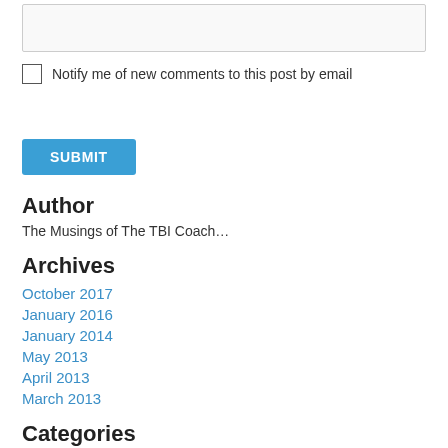[textarea input box]
Notify me of new comments to this post by email
SUBMIT
Author
The Musings of The TBI Coach…
Archives
October 2017
January 2016
January 2014
May 2013
April 2013
March 2013
Categories